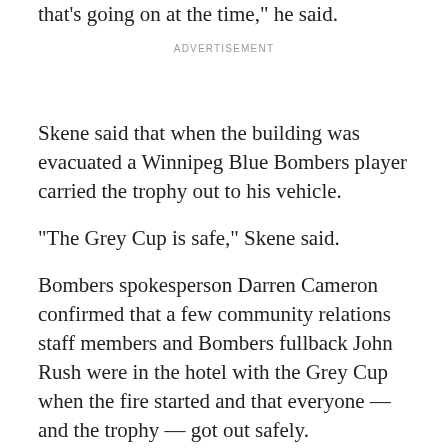We're busy dealing with the scene and everything else that's going on at the time," he said.
ADVERTISEMENT
Skene said that when the building was evacuated a Winnipeg Blue Bombers player carried the trophy out to his vehicle.
"The Grey Cup is safe," Skene said.
Bombers spokesperson Darren Cameron confirmed that a few community relations staff members and Bombers fullback John Rush were in the hotel with the Grey Cup when the fire started and that everyone — and the trophy — got out safely.
Skies over Kenora, Ont., filled with smoke